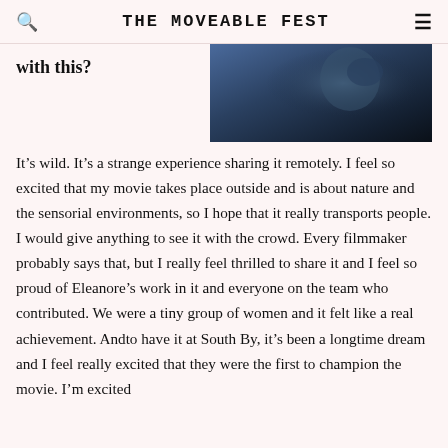THE MOVEABLE FEST
with this?
[Figure (photo): Dark cinematic still from a film, showing a figure in blue/dark tones]
It’s wild. It’s a strange experience sharing it remotely. I feel so excited that my movie takes place outside and is about nature and the sensorial environments, so I hope that it really transports people. I would give anything to see it with the crowd. Every filmmaker probably says that, but I really feel thrilled to share it and I feel so proud of Eleanore’s work in it and everyone on the team who contributed. We were a tiny group of women and it felt like a real achievement. Andto have it at South By, it’s been a longtime dream and I feel really excited that they were the first to champion the movie. I’m excited